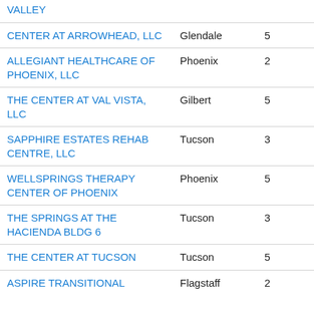| Name | City | Number |
| --- | --- | --- |
| VALLEY |  |  |
| CENTER AT ARROWHEAD, LLC | Glendale | 5 |
| ALLEGIANT HEALTHCARE OF PHOENIX, LLC | Phoenix | 2 |
| THE CENTER AT VAL VISTA, LLC | Gilbert | 5 |
| SAPPHIRE ESTATES REHAB CENTRE, LLC | Tucson | 3 |
| WELLSPRINGS THERAPY CENTER OF PHOENIX | Phoenix | 5 |
| THE SPRINGS AT THE HACIENDA BLDG 6 | Tucson | 3 |
| THE CENTER AT TUCSON | Tucson | 5 |
| ASPIRE TRANSITIONAL | Flagstaff | 2 |